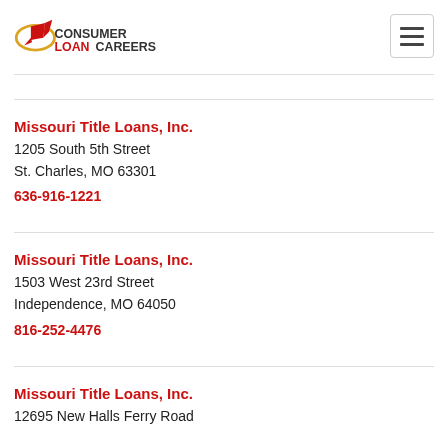[Figure (logo): ConsumerLoanCareers logo with rocket graphic and hamburger menu icon]
Missouri Title Loans, Inc.
1205 South 5th Street
St. Charles, MO 63301
636-916-1221
Missouri Title Loans, Inc.
1503 West 23rd Street
Independence, MO 64050
816-252-4476
Missouri Title Loans, Inc.
12695 New Halls Ferry Road